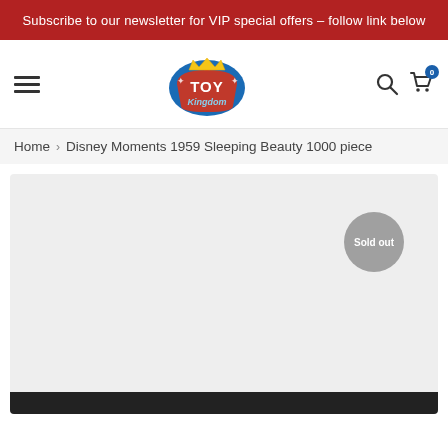Subscribe to our newsletter for VIP special offers - follow link below
[Figure (logo): Toy Kingdom logo - red and blue retro sign style with crown]
Home > Disney Moments 1959 Sleeping Beauty 1000 piece
[Figure (photo): Product image area (light grey placeholder) with a grey 'Sold out' circular badge in the top-right area]